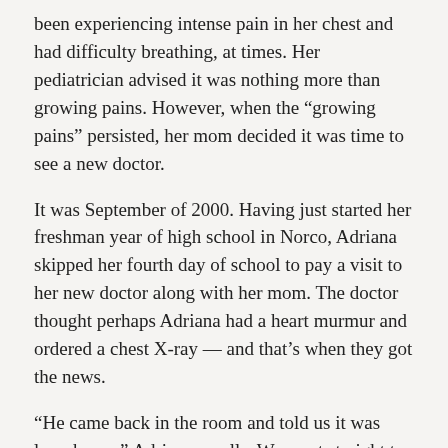been experiencing intense pain in her chest and had difficulty breathing, at times. Her pediatrician advised it was nothing more than growing pains. However, when the “growing pains” persisted, her mom decided it was time to see a new doctor.
It was September of 2000. Having just started her freshman year of high school in Norco, Adriana skipped her fourth day of school to pay a visit to her new doctor along with her mom. The doctor thought perhaps Adriana had a heart murmur and ordered a chest X-ray — and that’s when they got the news.
“He came back in the room and told us it was lymphoma,” Adriana recalls. We went straight to 4800 and I never left.”
Adriana and her mom made the 30-mile drive to LLU Children’s Hospital, home to 4800, which is the pediatric hematology/oncology intensive care unit, which treats